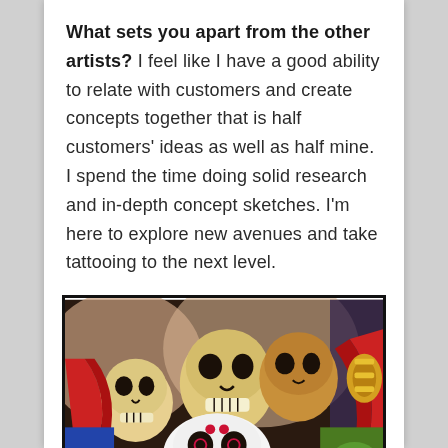What sets you apart from the other artists? I feel like I have a good ability to relate with customers and create concepts together that is half customers' ideas as well as half mine. I spend the time doing solid research and in-depth concept sketches. I'm here to explore new avenues and take tattooing to the next level.
[Figure (photo): Colorful tattoo artwork showing multiple skulls including sugar skull (Day of the Dead style) with vibrant colors — red, green, yellow, blue — arranged together with decorative elements.]